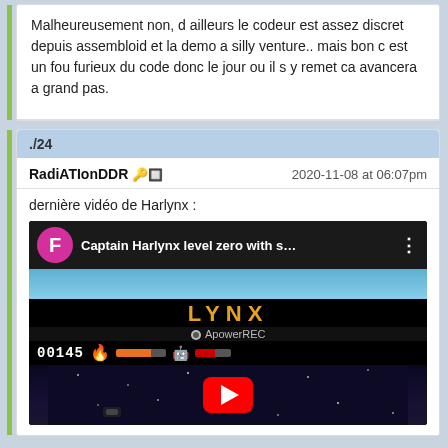Malheureusement non, d ailleurs le codeur est assez discret depuis assembloid et la demo a silly venture.. mais bon c est un fou furieux du code donc le jour ou il s y remet ca avancera a grand pas.
./24
RadiATIonDDR 🔑 [emoji]   2020-11-08 at 06:07pm
dernière vidéo de Harlynx :
[Figure (screenshot): YouTube video thumbnail showing Captain Harlynx level zero with s... title, Atari Lynx handheld game footage with LYNX branding, ApowerREC watermark, score 00145, health bars, spaceship game scene, and YouTube play button overlay]